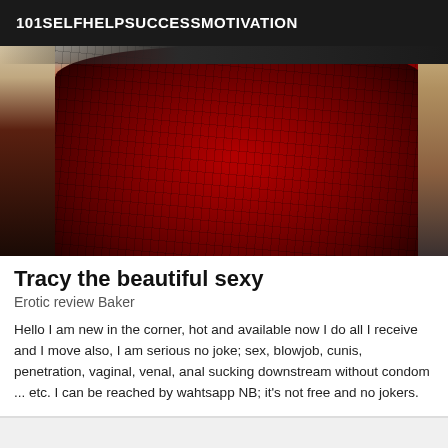101SELFHELPSUCCESSMOTIVATION
[Figure (photo): Close-up photo of a woman wearing a red and black lace corset/bustier dress]
Tracy the beautiful sexy
Erotic review Baker
Hello I am new in the corner, hot and available now I do all I receive and I move also, I am serious no joke; sex, blowjob, cunis, penetration, vaginal, venal, anal sucking downstream without condom ... etc. I can be reached by wahtsapp NB; it's not free and no jokers.